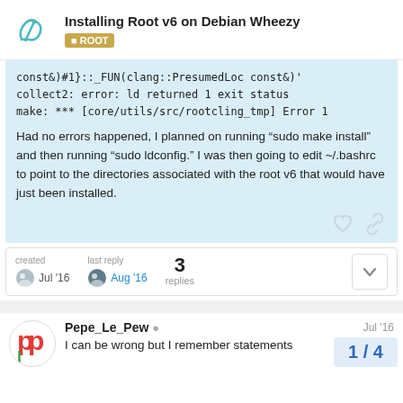Installing Root v6 on Debian Wheezy — ROOT
const&)#1}::_FUN(clang::PresumedLoc const&)'
collect2: error: ld returned 1 exit status
make: *** [core/utils/src/rootcling_tmp] Error 1
Had no errors happened, I planned on running “sudo make install” and then running “sudo ldconfig.” I was then going to edit ~/.bashrc to point to the directories associated with the root v6 that would have just been installed.
created Jul '16   last reply Aug '16   3 replies
Pepe_Le_Pew  Jul '16
I can be wrong but I remember statements
1 / 4